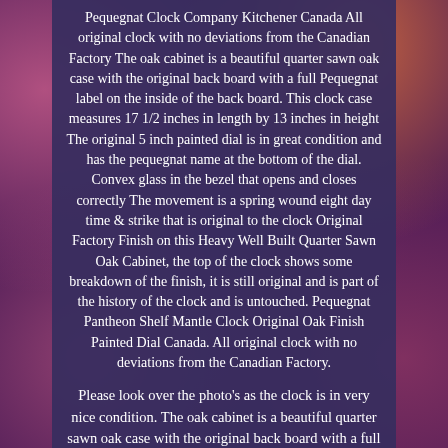Pequegnat Clock Company Kitchener Canada All original clock with no deviations from the Canadian Factory The oak cabinet is a beautiful quarter sawn oak case with the original back board with a full Pequegnat label on the inside of the back board. This clock case measures 17 1/2 inches in length by 13 inches in height The original 5 inch painted dial is in great condition and has the pequegnat name at the bottom of the dial. Convex glass in the bezel that opens and closes correctly The movement is a spring wound eight day time & strike that is original to the clock Original Factory Finish on this Heavy Well Built Quarter Sawn Oak Cabinet, the top of the clock shows some breakdown of the finish, it is still original and is part of the history of the clock and is untouched. Pequegnat Pantheon Shelf Mantle Clock Original Oak Finish Painted Dial Canada. All original clock with no deviations from the Canadian Factory.
Please look over the photo's as the clock is in very nice condition. The oak cabinet is a beautiful quarter sawn oak case with the original back board with a full Pequegnat label on the inside of the back board. This clock case measures 17 1/2 inches in length by 13 inches in height.
The original 5 inch painted dial is in great condition and has the Pequegnat name at the bottom of the dial. Convex glass in the bezel that opens and closes correctly.
The movement is a spring wound eight day time & strike that is original to the clock Original Factory Finish on this Heavy Well...